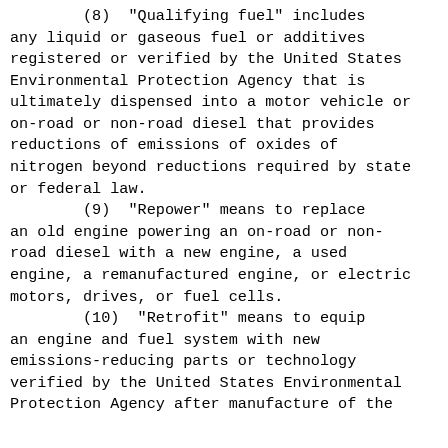(8)  "Qualifying fuel" includes any liquid or gaseous fuel or additives registered or verified by the United States Environmental Protection Agency that is ultimately dispensed into a motor vehicle or on-road or non-road diesel that provides reductions of emissions of oxides of nitrogen beyond reductions required by state or federal law.
(9)  "Repower" means to replace an old engine powering an on-road or non-road diesel with a new engine, a used engine, a remanufactured engine, or electric motors, drives, or fuel cells.
(10)  "Retrofit" means to equip an engine and fuel system with new emissions-reducing parts or technology verified by the United States Environmental Protection Agency after manufacture of the